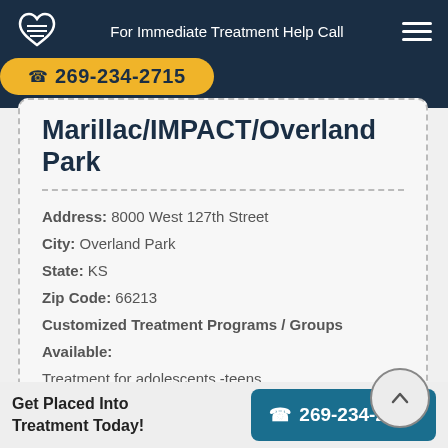For Immediate Treatment Help Call 269-234-2715
Marillac/IMPACT/Overland Park
Address: 8000 West 127th Street
City: Overland Park
State: KS
Zip Code: 66213
Customized Treatment Programs / Groups Available:
Treatment for adolescents -teens
Learn More About This Rehab
Get Placed Into Treatment Today! 269-234-2715